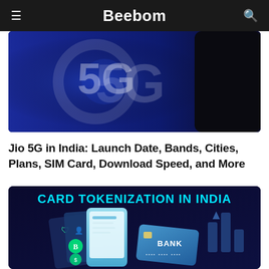Beebom
[Figure (photo): Jio 5G logo on a dark blue background, partially cropped at top]
Jio 5G in India: Launch Date, Bands, Cities, Plans, SIM Card, Download Speed, and More
[Figure (illustration): Card Tokenization in India infographic showing a smartphone with layered cards and a BANK card, on dark navy background with cyan text heading]